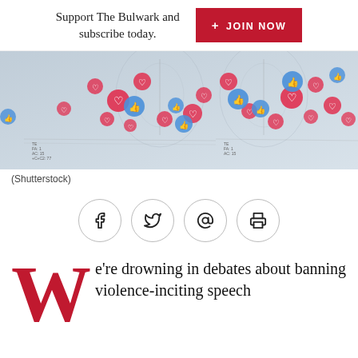Support The Bulwark and subscribe today.
[Figure (photo): Artistic image of butterfly specimens overlaid with floating social media reaction icons (hearts and thumbs-up in red and blue), with medical/scientific chart data visible at the bottom.]
(Shutterstock)
[Figure (infographic): Row of four circular social sharing buttons: Facebook (f), Twitter (bird), Email (@), and Print (printer icon).]
We're drowning in debates about banning violence-inciting speech